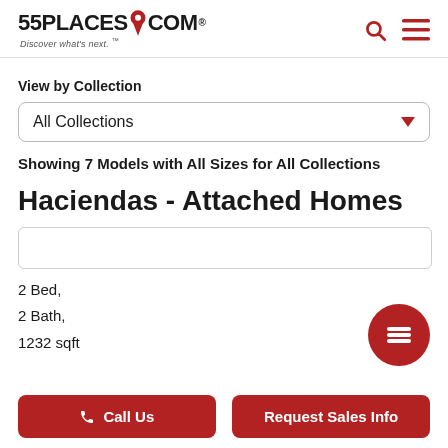55PLACES.COM Discover what's next.
View by Collection
All Collections
Showing 7 Models with All Sizes for All Collections
Haciendas - Attached Homes
2 Bed,
2 Bath,
1232 sqft
Call Us
Request Sales Info